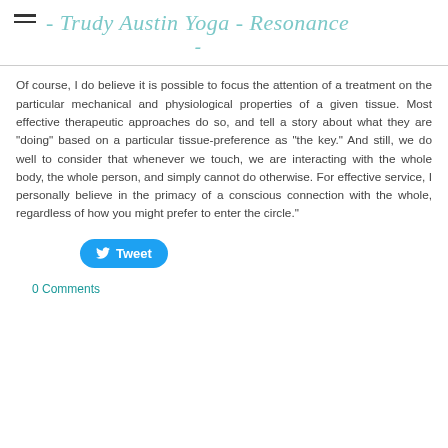- Trudy Austin Yoga - Resonance
Of course, I do believe it is possible to focus the attention of a treatment on the particular mechanical and physiological properties of a given tissue. Most effective therapeutic approaches do so, and tell a story about what they are "doing" based on a particular tissue-preference as "the key." And still, we do well to consider that whenever we touch, we are interacting with the whole body, the whole person, and simply cannot do otherwise. For effective service, I personally believe in the primacy of a conscious connection with the whole, regardless of how you might prefer to enter the circle.
Tweet
0 Comments